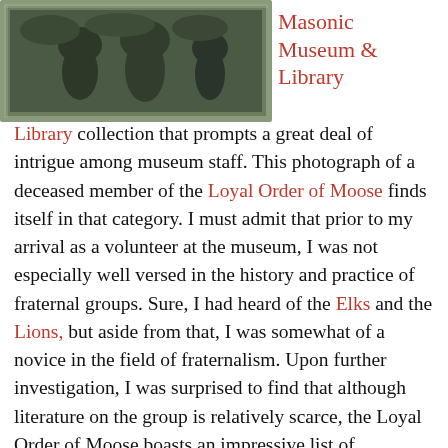[Figure (photo): A framed photograph/print showing figures, displayed at the top left of the page. The image appears to be a vintage photograph of a group scene.]
Masonic Museum & Library collection that prompts a great deal of intrigue among museum staff. This photograph of a deceased member of the Loyal Order of Moose finds itself in that category. I must admit that prior to my arrival as a volunteer at the museum, I was not especially well versed in the history and practice of fraternal groups. Sure, I had heard of the Elks and the Lions, but aside from that, I was somewhat of a novice in the field of fraternalism. Upon further investigation, I was surprised to find that although literature on the group is relatively scarce, the Loyal Order of Moose boasts an impressive list of members. Amongst the ranks are former